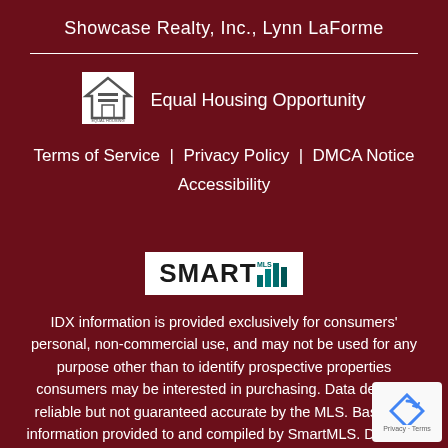Showcase Realty, Inc., Lynn LaForme
[Figure (logo): Equal Housing Opportunity logo - house with equal sign]
Equal Housing Opportunity
Terms of Service | Privacy Policy | DMCA Notice
Accessibility
[Figure (logo): SmartMLS logo with bar chart icon]
IDX information is provided exclusively for consumers' personal, non-commercial use, and may not be used for any purpose other than to identify prospective properties consumers may be interested in purchasing. Data deemed reliable but not guaranteed accurate by the MLS. Based on information provided to and compiled by SmartMLS. Data last updated 08/20/2022 05:50 AM